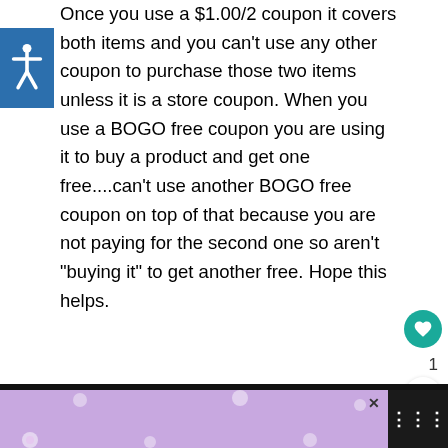Once you use a $1.00/2 coupon it covers both items and you can't use any other coupon to purchase those two items unless it is a store coupon. When you use a BOGO free coupon you are using it to buy a product and get one free....can't use another BOGO free coupon on top of that because you are not paying for the second one so aren't "buying it" to get another free. Hope this helps.
Reply
[Figure (infographic): STOP ASIAN HATE advertisement banner with purple floral background and cartoon character]